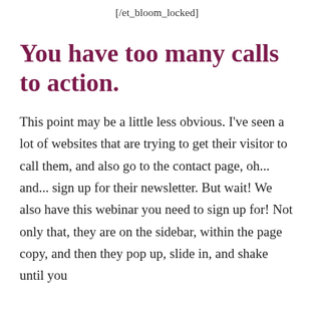[/et_bloom_locked]
You have too many calls to action.
This point may be a little less obvious. I've seen a lot of websites that are trying to get their visitor to call them, and also go to the contact page, oh... and... sign up for their newsletter. But wait! We also have this webinar you need to sign up for! Not only that, they are on the sidebar, within the page copy, and then they pop up, slide in, and shake until you just want to hit someone over the head.